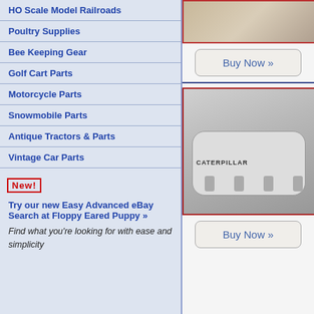HO Scale Model Railroads
Poultry Supplies
Bee Keeping Gear
Golf Cart Parts
Motorcycle Parts
Snowmobile Parts
Antique Tractors & Parts
Vintage Car Parts
NEW! Try our new Easy Advanced eBay Search at Floppy Eared Puppy »
Find what you're looking for with ease and simplicity
[Figure (photo): Partial photo visible at top right, cropped product image]
Buy Now »
[Figure (photo): White Caterpillar air tank/filter component sitting on cardboard on concrete floor]
Buy Now »